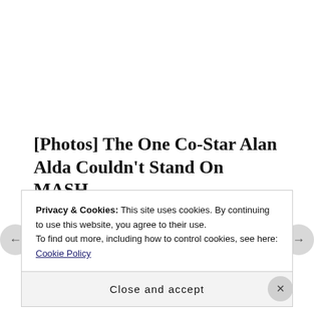[Photos] The One Co-Star Alan Alda Couldn't Stand On MASH
12Up
Privacy & Cookies: This site uses cookies. By continuing to use this website, you agree to their use.
To find out more, including how to control cookies, see here: Cookie Policy
Close and accept